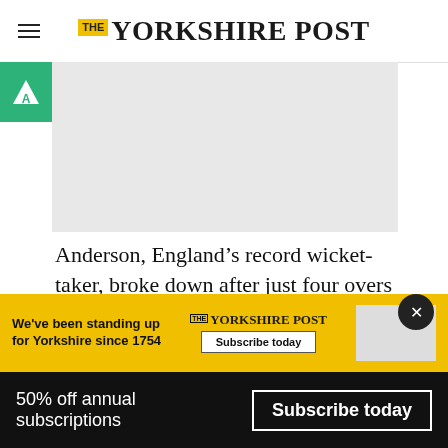THE YORKSHIRE POST
[Figure (other): Advertisement placeholder with green Adblock icon and grey banner image area]
Anderson, England’s record wicket-taker, broke down after just four overs in that match due to a calf injury and did not bowl again.
Archer, meanwhile, was left out of the series opener having required painkillers to play in the World C...
[Figure (other): Yorkshire Post subscription banner advertisement in yellow: 'We've been standing up for Yorkshire since 1754' with Subscribe today button]
50% off annual subscriptions   Subscribe today